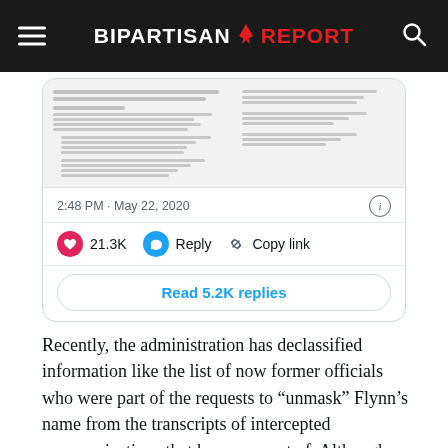BIPARTISAN REPORT
[Figure (screenshot): Tweet screenshot showing a document image with text, timestamp '2:48 PM · May 22, 2020', 21.3K likes, Reply button, Copy link button, and 'Read 5.2K replies' button]
Recently, the administration has declassified information like the list of now former officials who were part of the requests to “unmask” Flynn’s name from the transcripts of intercepted communications that he was a part of. Although allies of the president have tried to depict this unmasking of his